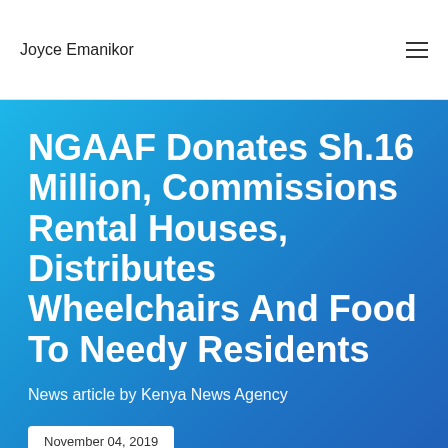Joyce Emanikor
NGAAF Donates Sh.16 Million, Commissions Rental Houses, Distributes Wheelchairs And Food To Needy Residents
News article by Kenya News Agency
November 04, 2019